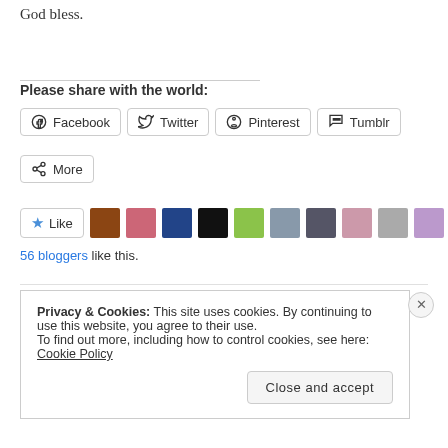God bless.
Please share with the world:
[Figure (screenshot): Social share buttons: Facebook, Twitter, Pinterest, Tumblr, More]
[Figure (screenshot): Like button with star icon and 9 blogger avatars, 56 bloggers like this.]
56 bloggers like this.
Privacy & Cookies: This site uses cookies. By continuing to use this website, you agree to their use. To find out more, including how to control cookies, see here: Cookie Policy
Close and accept